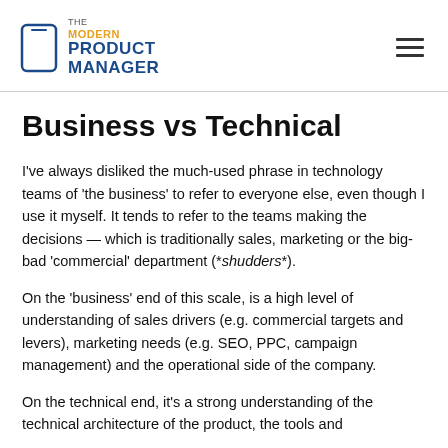THE MODERN PRODUCT MANAGER
Business vs Technical
I've always disliked the much-used phrase in technology teams of 'the business' to refer to everyone else, even though I use it myself. It tends to refer to the teams making the decisions — which is traditionally sales, marketing or the big-bad 'commercial' department (*shudders*).
On the 'business' end of this scale, is a high level of understanding of sales drivers (e.g. commercial targets and levers), marketing needs (e.g. SEO, PPC, campaign management) and the operational side of the company.
On the technical end, it's a strong understanding of the technical architecture of the product, the tools and